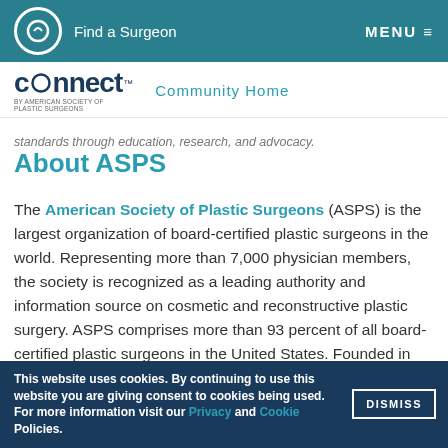Find a Surgeon   MENU
[Figure (logo): Connect by American Society of Plastic Surgeons logo with 'Community Home' link]
standards through education, research, and advocacy.
About ASPS
The American Society of Plastic Surgeons (ASPS) is the largest organization of board-certified plastic surgeons in the world. Representing more than 7,000 physician members, the society is recognized as a leading authority and information source on cosmetic and reconstructive plastic surgery. ASPS comprises more than 93 percent of all board-certified plastic surgeons in the United States. Founded in 1931, the society represents physicians certified by The American Board of
This website uses cookies. By continuing to use this website you are giving consent to cookies being used. For more information visit our Privacy and Cookie Policies.  DISMISS